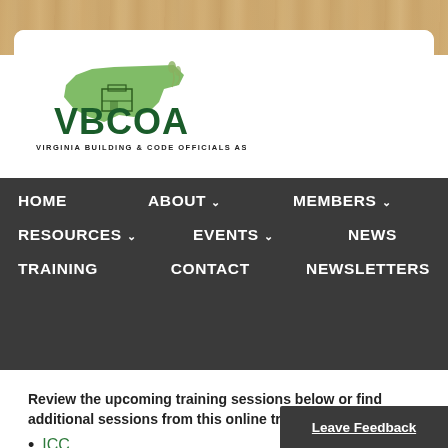[Figure (logo): VBCOA - Virginia Building & Code Officials Association logo with green Virginia state outline and building graphic]
HOME  ABOUT  MEMBERS  RESOURCES  EVENTS  NEWS  TRAINING  CONTACT  NEWSLETTERS
Review the upcoming training sessions below or find additional sessions from this online training calendars:
ICC